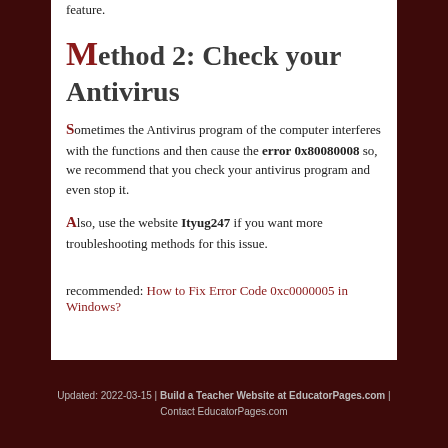feature.
Method 2: Check your Antivirus
Sometimes the Antivirus program of the computer interferes with the functions and then cause the error 0x80080008 so, we recommend that you check your antivirus program and even stop it.
Also, use the website Ityug247 if you want more troubleshooting methods for this issue.
recommended: How to Fix Error Code 0xc0000005 in Windows?
Updated: 2022-03-15 | Build a Teacher Website at EducatorPages.com | Contact EducatorPages.com